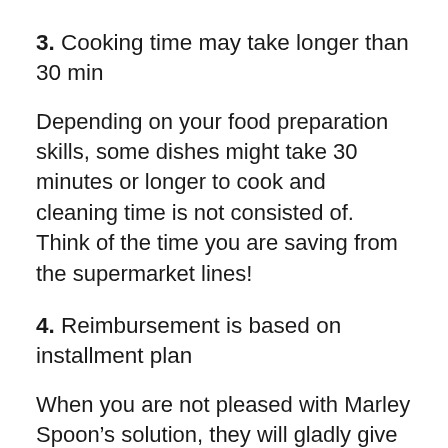3. Cooking time may take longer than 30 min
Depending on your food preparation skills, some dishes might take 30 minutes or longer to cook and cleaning time is not consisted of. Think of the time you are saving from the supermarket lines!
4. Reimbursement is based on installment plan
When you are not pleased with Marley Spoon’s solution, they will gladly give you with reimbursement, but standard is store credit. See to it you discuss what kind of refund you will getting.